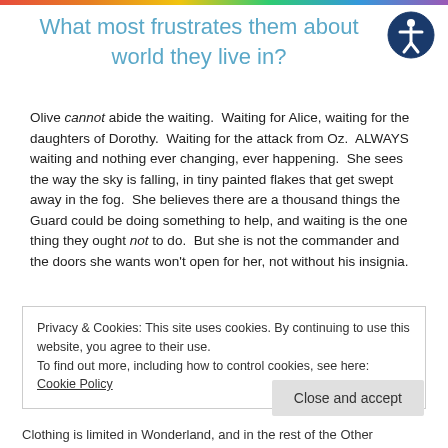What most frustrates them about world they live in?
Olive cannot abide the waiting. Waiting for Alice, waiting for the daughters of Dorothy. Waiting for the attack from Oz. ALWAYS waiting and nothing ever changing, ever happening. She sees the way the sky is falling, in tiny painted flakes that get swept away in the fog. She believes there are a thousand things the Guard could be doing something to help, and waiting is the one thing they ought not to do. But she is not the commander and the doors she wants won't open for her, not without his insignia.
Privacy & Cookies: This site uses cookies. By continuing to use this website, you agree to their use.
To find out more, including how to control cookies, see here: Cookie Policy
Clothing is limited in Wonderland, and in the rest of the Other